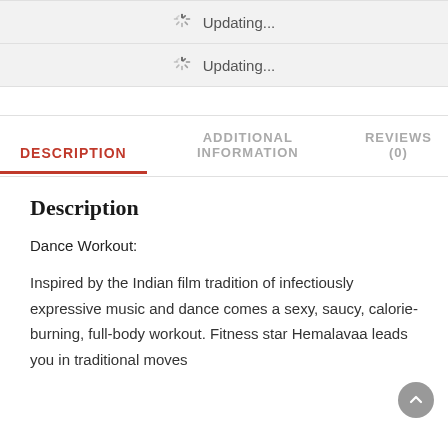[Figure (screenshot): Two loading rows showing 'Updating...' spinner status indicators with gray background]
DESCRIPTION
ADDITIONAL INFORMATION
REVIEWS (0)
Description
Dance Workout:
Inspired by the Indian film tradition of infectiously expressive music and dance comes a sexy, saucy, calorie-burning, full-body workout. Fitness star Hemalavaa leads you in traditional moves